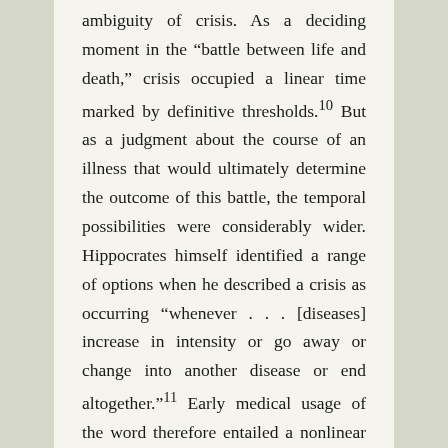ambiguity of crisis. As a deciding moment in the “battle between life and death,” crisis occupied a linear time marked by definitive thresholds.10 But as a judgment about the course of an illness that would ultimately determine the outcome of this battle, the temporal possibilities were considerably wider. Hippocrates himself identified a range of options when he described a crisis as occurring “whenever . . . [diseases] increase in intensity or go away or change into another disease or end altogether.”11 Early medical usage of the word therefore entailed a nonlinear and differentiated temporality. In addition to an overarching and diachronic conception of the relation between sickness and health or life and death, the medical